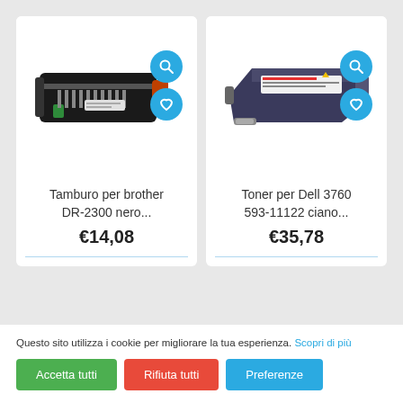[Figure (photo): Tamburo per brother DR-2300 nero printer drum unit product photo with blue search and heart icon buttons]
Tamburo per brother DR-2300 nero...
€14,08
[Figure (photo): Toner per Dell 3760 593-11122 ciano toner cartridge product photo with blue search and heart icon buttons]
Toner per Dell 3760 593-11122 ciano...
€35,78
Questo sito utilizza i cookie per migliorare la tua esperienza. Scopri di più
Accetta tutti
Rifiuta tutti
Preferenze